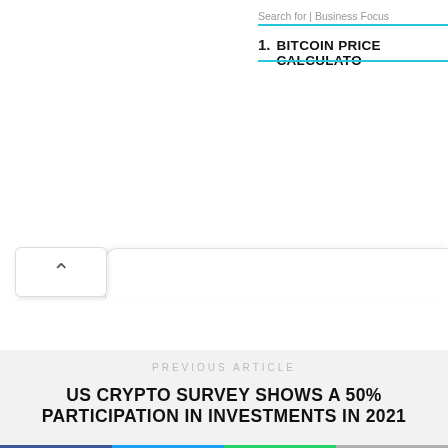Search for | Business Focus
1.  BITCOIN PRICE CALCULATOR
[Figure (screenshot): Scroll-up chevron button on left, with tab area extending to the right, on white background]
PREVIOUS ARTICLE
US CRYPTO SURVEY SHOWS A 50% PARTICIPATION IN INVESTMENTS IN 2021
[Figure (infographic): Social share bar with Facebook (blue), Twitter (light blue), WhatsApp (green), and More (gray) buttons showing f, bird, phone, and + icons]